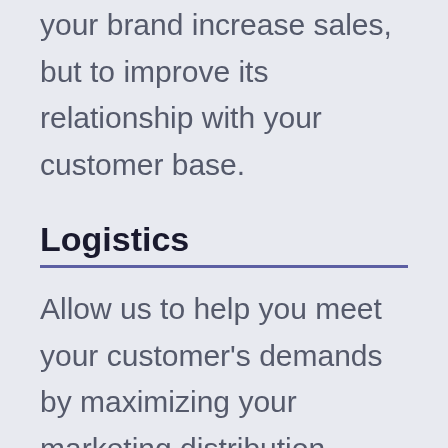your brand increase sales, but to improve its relationship with your customer base.
Logistics
Allow us to help you meet your customer's demands by maximizing your marketing distribution services. Not only will this allow your brand to increase customer satisfaction, but provide it at a lower expense. This means you can focus funds